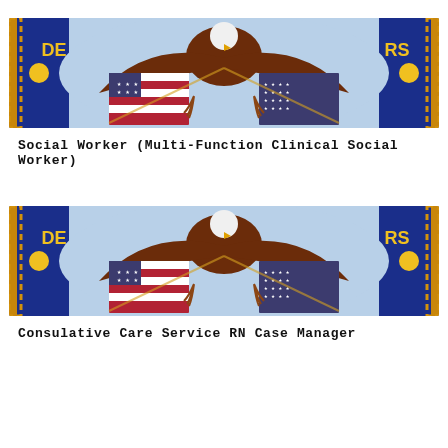[Figure (illustration): Department of Veterans Affairs seal banner cropped — shows bald eagle with flags and circular blue seal with rope border, yellow dots, partial text 'DE' on left and 'RS' on right]
Social Worker (Multi-Function Clinical Social Worker)
[Figure (illustration): Department of Veterans Affairs seal banner cropped — same seal with bald eagle, flags, blue circle, rope border, yellow dots, partial text 'DE' on left and 'RS' on right]
Consulative Care Service RN Case Manager
[Figure (illustration): Partial Department of Veterans Affairs seal banner at bottom, cropped — same seal style, only top portion visible]